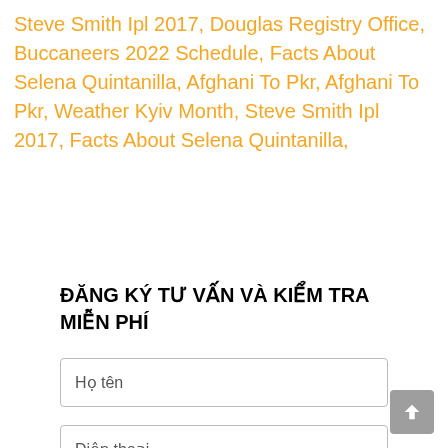Steve Smith Ipl 2017, Douglas Registry Office, Buccaneers 2022 Schedule, Facts About Selena Quintanilla, Afghani To Pkr, Afghani To Pkr, Weather Kyiv Month, Steve Smith Ipl 2017, Facts About Selena Quintanilla,
ĐĂNG KÝ TƯ VẤN VÀ KIỂM TRA MIỄN PHÍ
Họ tên
Điện thoại
Email